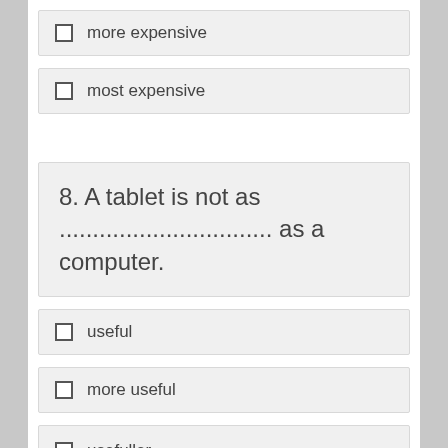more expensive
most expensive
8. A tablet is not as ................................. as a computer.
useful
more useful
usefuller